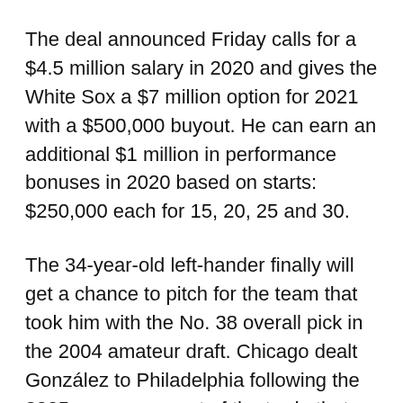The deal announced Friday calls for a $4.5 million salary in 2020 and gives the White Sox a $7 million option for 2021 with a $500,000 buyout. He can earn an additional $1 million in performance bonuses in 2020 based on starts: $250,000 each for 15, 20, 25 and 30.
The 34-year-old left-hander finally will get a chance to pitch for the team that took him with the No. 38 overall pick in the 2004 amateur draft. Chicago dealt González to Philadelphia following the 2005 season as part of the trade that sent Aaron Rowand to the Phillies for Jim Thome, then reacquired González a year later along with Gavin Floyd for Freddy García. The White Sox traded González to Oakland for Nick Swisher in January 2008.
González was 3-2 with a 3.59 ERA in 17 starts and 19...